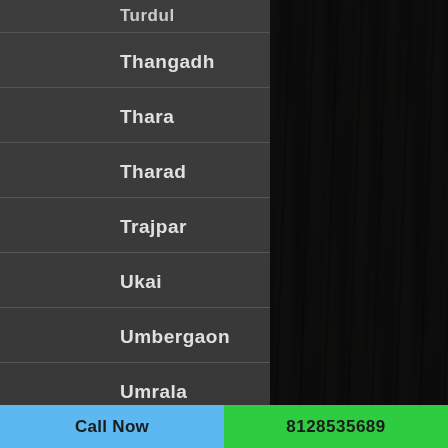Thangadh
Thara
Tharad
Trajpar
Ukai
Umbergaon
Umrala
Umreth
Una
Call Now
8128535689